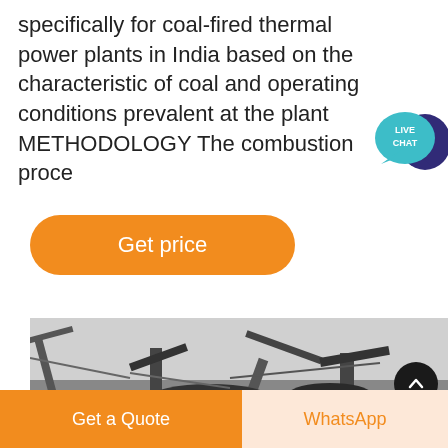specifically for coal-fired thermal power plants in India based on the characteristic of coal and operating conditions prevalent at the plant METHODOLOGY The combustion proce
[Figure (illustration): Live Chat speech bubble icon with teal/dark blue color and white text 'LIVE CHAT']
Get price
[Figure (photo): Industrial coal crushing/conveyor machinery at a thermal power plant, photographed against an overcast sky]
Get a Quote
WhatsApp